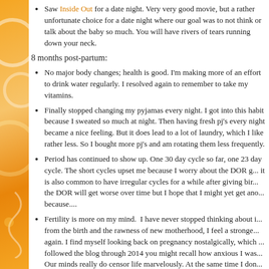Saw Inside Out for a date night. Very very good movie, but a rather unfortunate choice for a date night where our goal was to not think or talk about the baby so much. You will have rivers of tears running down your neck.
8 months post-partum:
No major body changes; health is good. I'm making more of an effort to drink water regularly. I resolved again to remember to take my vitamins.
Finally stopped changing my pyjamas every night. I got into this habit because I sweated so much at night. Then having fresh pj's every night became a nice feeling. But it does lead to a lot of laundry, which I like rather less. So I bought more pj's and am rotating them less frequently.
Period has continued to show up. One 30 day cycle so far, one 23 day cycle. The short cycles upset me because I worry about the DOR getting worse, but it is also common to have irregular cycles for a while after giving birth. I'm afraid the DOR will get worse over time but I hope that I might yet get another chance, because....
Fertility is more on my mind.  I have never stopped thinking about it, but away from the birth and the rawness of new motherhood, I feel a stronger desire to try again. I find myself looking back on pregnancy nostalgically, which is odd -- if you followed the blog through 2014 you might recall how anxious I was. Our minds really do censor life marvelously. At the same time I don't feel ready to TTC, because of the extra effort of monitoring my body and also the financial impact. We'll come to some conclusion. So all to this...